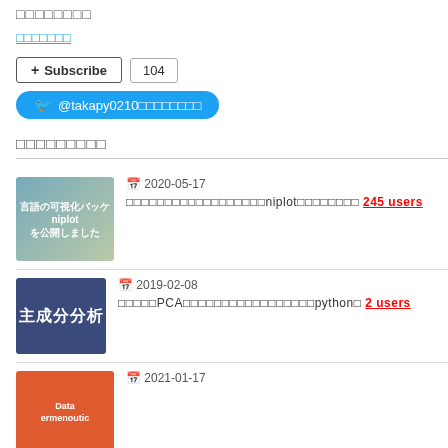□□□□□□□□
□□□□□□□ (link)
+ Subscribe  104
@takapy0210□□□□□□□□
□□□□□□□□□
2020-05-17 □□□□□□□□□□□□□□□□□□nlplot□□□□□□□□ 245 users
2019-02-08 □□□□□PCA□□□□□□□□□□□□□□□□□python□ 2 users
2021-01-17